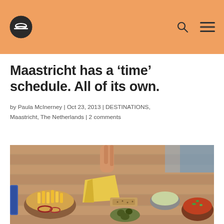Maastricht has a ‘time’ schedule. All of its own.
by Paula McInerney | Oct 23, 2013 | DESTINATIONS, Maastricht, The Netherlands | 2 comments
[Figure (photo): A spread of food on a table including cheese, bread, olives, fries, and other dishes in small bowls, with a hand reaching for food.]